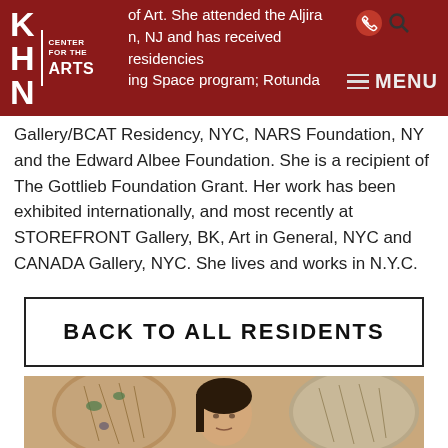KHN CENTER FOR THE ARTS — header with partial text: 'of Art. She attended the Aljira n, NJ and has received residencies ing Space program; Rotunda'
Gallery/BCAT Residency, NYC, NARS Foundation, NY and the Edward Albee Foundation. She is a recipient of The Gottlieb Foundation Grant. Her work has been exhibited internationally, and most recently at STOREFRONT Gallery, BK, Art in General, NYC and CANADA Gallery, NYC. She lives and works in N.Y.C.
BACK TO ALL RESIDENTS
[Figure (photo): Photo of a woman with dark hair standing in front of two large oval artworks on a beige/tan wall. The artworks appear to be collage-style mixed media pieces with organic shapes.]